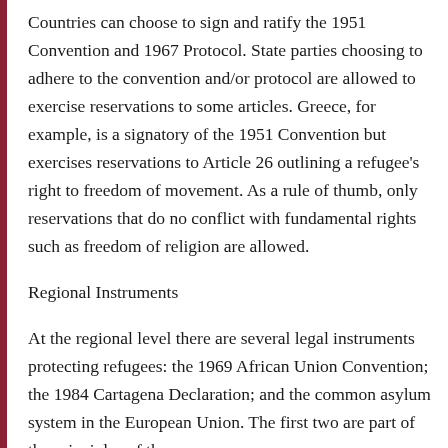Countries can choose to sign and ratify the 1951 Convention and 1967 Protocol. State parties choosing to adhere to the convention and/or protocol are allowed to exercise reservations to some articles. Greece, for example, is a signatory of the 1951 Convention but exercises reservations to Article 26 outlining a refugee's right to freedom of movement. As a rule of thumb, only reservations that do no conflict with fundamental rights such as freedom of religion are allowed.
Regional Instruments
At the regional level there are several legal instruments protecting refugees: the 1969 African Union Convention; the 1984 Cartagena Declaration; and the common asylum system in the European Union. The first two are part of the principles of the